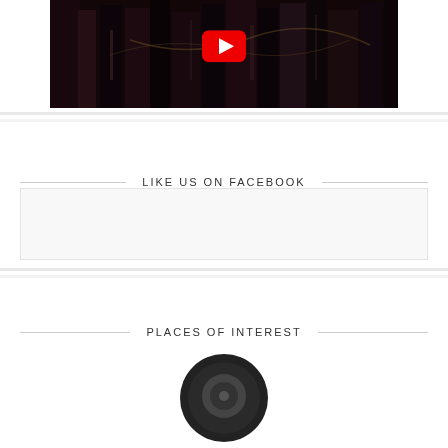[Figure (screenshot): Dark architectural interior scene with a YouTube play button overlay at the top center of the image]
LIKE US ON FACEBOOK
[Figure (other): Facebook social plugin widget placeholder area]
PLACES OF INTEREST
[Figure (other): Circular map/location icon at the bottom, partially visible]